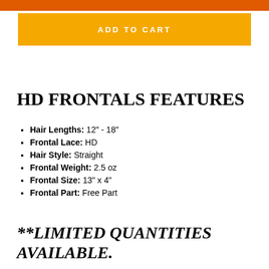ADD TO CART
HD FRONTALS FEATURES
Hair Lengths:  12" - 18"
Frontal Lace:  HD
Hair Style:  Straight
Frontal Weight:  2.5 oz
Frontal Size:  13" x 4"
Frontal Part:  Free Part
**LIMITED QUANTITIES AVAILABLE.